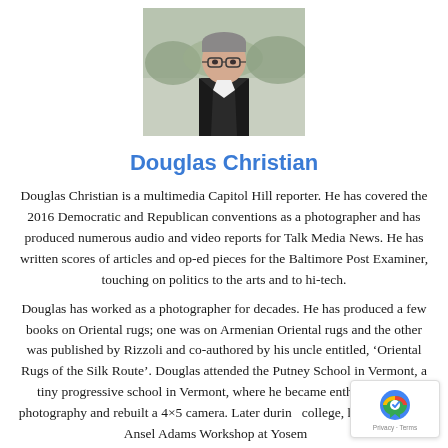[Figure (photo): Headshot photo of Douglas Christian, a man wearing glasses and a dark jacket, outdoors with blurred background]
Douglas Christian
Douglas Christian is a multimedia Capitol Hill reporter. He has covered the 2016 Democratic and Republican conventions as a photographer and has produced numerous audio and video reports for Talk Media News. He has written scores of articles and op-ed pieces for the Baltimore Post Examiner, touching on politics to the arts and to hi-tech.
Douglas has worked as a photographer for decades. He has produced a few books on Oriental rugs; one was on Armenian Oriental rugs and the other was published by Rizzoli and co-authored by his uncle entitled, ‘Oriental Rugs of the Silk Route’. Douglas attended the Putney School in Vermont, a tiny progressive school in Vermont, where he became enthralled with photography and rebuilt a 4×5 camera. Later during college, he attended the Ansel Adams Workshop at Yosemite,